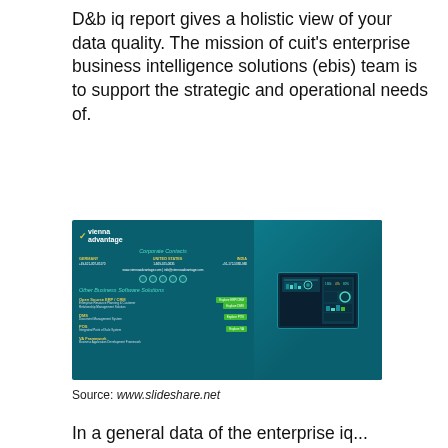D&b iq report gives a holistic view of your data quality. The mission of cuit's enterprise business intelligence solutions (ebis) team is to support the strategic and operational needs of.
[Figure (screenshot): Vienna Advantage corporate contacts card showing company logo, contact information for Germany, United States, and India offices, social media icons, and other business software solutions including Open Source ERP/CRM, DMS, POS, and VA Framework with Explore buttons, alongside a tablet displaying a dashboard screenshot.]
Source: www.slideshare.net
In a general data of the enterprise iq...